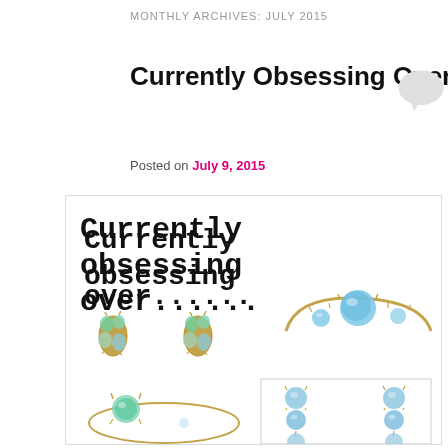MONTHLY ARCHIVES: JULY 2015
Currently Obsessing Over…….OPALS
Posted on July 9, 2015
[Figure (photo): Blog post image showing opal jewelry pieces including earrings and rings, with text overlay reading 'Currently obsessing over......']